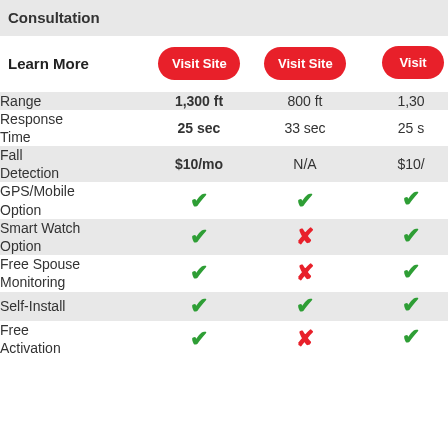|  | Col1 | Col2 | Col3 |
| --- | --- | --- | --- |
| Consultation |  |  |  |
| Learn More | Visit Site | Visit Site | Visit |
| Range | 1,300 ft | 800 ft | 1,30 |
| Response Time | 25 sec | 33 sec | 25 s |
| Fall Detection | $10/mo | N/A | $10/ |
| GPS/Mobile Option | ✓ | ✓ | ✓ |
| Smart Watch Option | ✓ | ✗ | ✓ |
| Free Spouse Monitoring | ✓ | ✗ | ✓ |
| Self-Install | ✓ | ✓ | ✓ |
| Free Activation | ✓ | ✗ | ✓ |